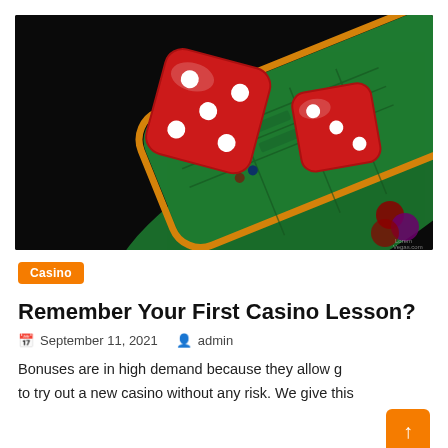[Figure (photo): Two large red casino dice on a green craps table with orange border frame, photographed in dramatic low-key lighting against a dark background. Small watermark in bottom right corner.]
Casino
Remember Your First Casino Lesson?
September 11, 2021   admin
Bonuses are in high demand because they allow g to try out a new casino without any risk. We give this